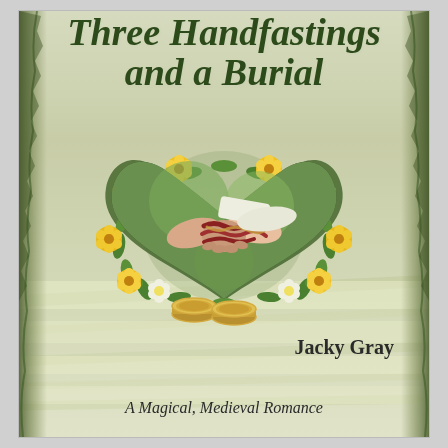[Figure (illustration): Book cover for 'Three Handfastings and a Burial' by Jacky Gray. The cover shows an aged parchment scroll background with dark torn edges on left and right sides. At the top in dark green italic script font is the title 'Three Handfastings and a Burial'. In the center is a heart-shaped wreath of yellow, white, and green flowers framing a photograph of two hands bound together with red and gold cord (handfasting ceremony), and below the hands are two gold wedding rings. Below the image in the lower right is the author name 'Jacky Gray' in bold black text. At the bottom in italic text is the subtitle 'A Magical, Medieval Romance'.]
Three Handfastings and a Burial
Jacky Gray
A Magical, Medieval Romance